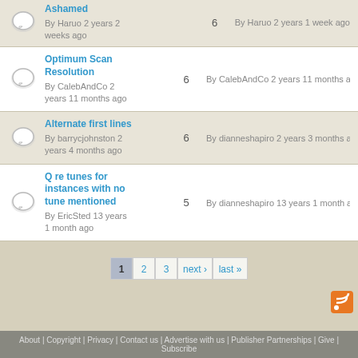Ashamed — By Haruo 2 years 2 weeks ago | Replies: 6 | Last: By Haruo 2 years 1 week ago
Optimum Scan Resolution — By CalebAndCo 2 years 11 months ago | Replies: 6 | Last: By CalebAndCo 2 years 11 months ago
Alternate first lines — By barrycjohnston 2 years 4 months ago | Replies: 6 | Last: By dianneshapiro 2 years 3 months ago
Q re tunes for instances with no tune mentioned — By EricSted 13 years 1 month ago | Replies: 5 | Last: By dianneshapiro 13 years 1 month ago
About | Copyright | Privacy | Contact us | Advertise with us | Publisher Partnerships | Give | Subscribe